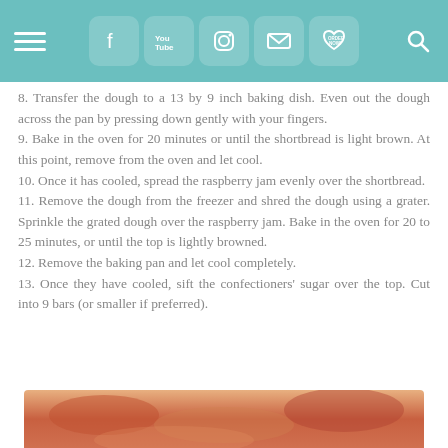Navigation header with social media icons
8. Transfer the dough to a 13 by 9 inch baking dish. Even out the dough across the pan by pressing down gently with your fingers.
9. Bake in the oven for 20 minutes or until the shortbread is light brown. At this point, remove from the oven and let cool.
10. Once it has cooled, spread the raspberry jam evenly over the shortbread.
11. Remove the dough from the freezer and shred the dough using a grater. Sprinkle the grated dough over the raspberry jam. Bake in the oven for 20 to 25 minutes, or until the top is lightly browned.
12. Remove the baking pan and let cool completely.
13. Once they have cooled, sift the confectioners' sugar over the top. Cut into 9 bars (or smaller if preferred).
[Figure (photo): Photo of baked raspberry shortbread bars, partially visible at bottom of page]